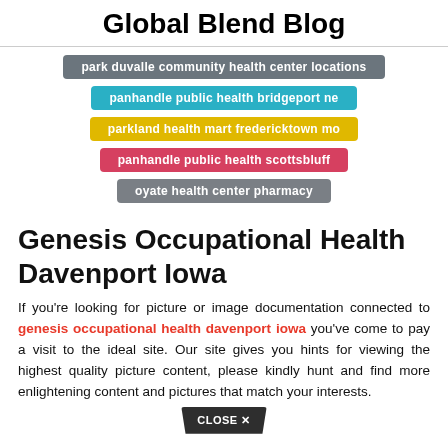Global Blend Blog
park duvalle community health center locations
panhandle public health bridgeport ne
parkland health mart fredericktown mo
panhandle public health scottsbluff
oyate health center pharmacy
Genesis Occupational Health Davenport Iowa
If you're looking for picture or image documentation connected to genesis occupational health davenport iowa you've come to pay a visit to the ideal site. Our site gives you hints for viewing the highest quality picture content, please kindly hunt and find more enlightening content and pictures that match your interests.